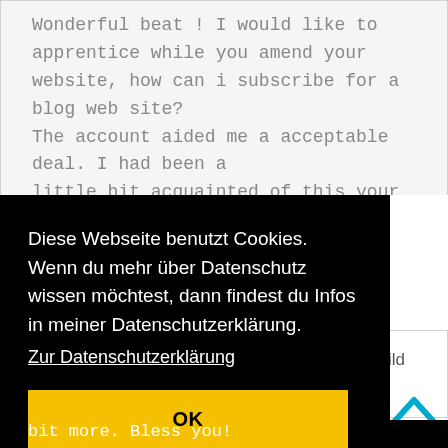Wonderful beat ! I would like to apprentice while you amend your website, how can i subscribe for a blog web site? The account aided me a acceptable deal. I had been a little bit acquainted of this your broadcast offered bright clear idea
Diese Webseite benutzt Cookies. Wenn du mehr über Datenschutz wissen möchtest, dann findest du Infos in meiner Datenschutzerklärung.
Zur Datenschutzerklärung
OK
ild
bit more. Bless you!